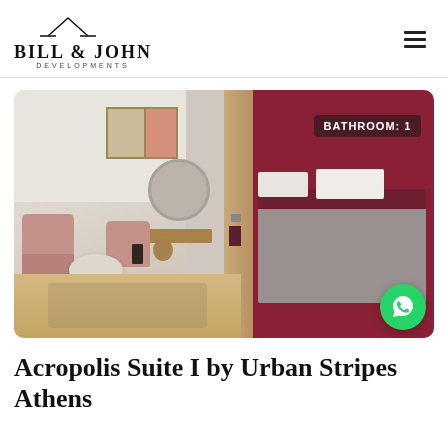[Figure (logo): Bill & John Developments logo with rooftop line icon above text]
[Figure (photo): Hotel suite interior showing seating area with pink chairs, round coffee table, artwork on wall, circular mirror, and bedroom with burgundy accent wall, double bed with white pillows, wooden floor. Overlay text 'BATHROOM: 1' in upper right corner.]
Acropolis Suite I by Urban Stripes Athens